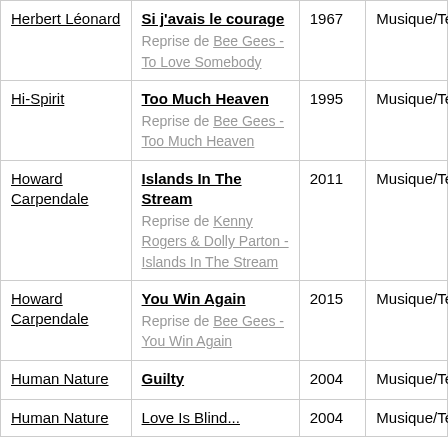| Herbert Léonard | Si j'avais le courage
Reprise de Bee Gees - To Love Somebody | 1967 | Musique/Texte |
| Hi-Spirit | Too Much Heaven
Reprise de Bee Gees - Too Much Heaven | 1995 | Musique/Texte |
| Howard Carpendale | Islands In The Stream
Reprise de Kenny Rogers & Dolly Parton - Islands In The Stream | 2011 | Musique/Texte |
| Howard Carpendale | You Win Again
Reprise de Bee Gees - You Win Again | 2015 | Musique/Texte |
| Human Nature | Guilty | 2004 | Musique/Texte |
| Human Nature | Love Is Blind... | 2004 | Musique/Texte |